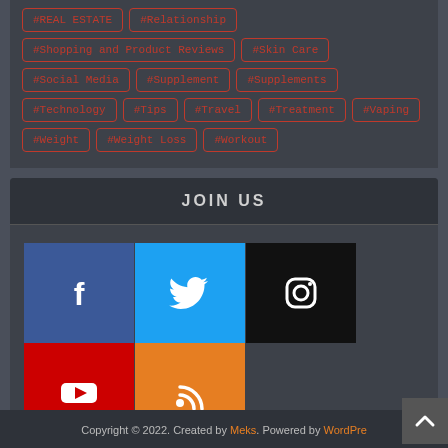#REAL ESTATE
#Relationship
#Shopping and Product Reviews
#Skin Care
#Social Media
#Supplement
#Supplements
#Technology
#Tips
#Travel
#Treatment
#Vaping
#Weight
#Weight Loss
#Workout
JOIN US
[Figure (infographic): Social media icons: Facebook (blue), Twitter (light blue), Instagram (black), YouTube (red), RSS (orange)]
Copyright © 2022. Created by Meks. Powered by WordPress